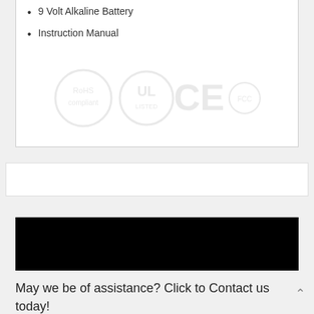9 Volt Alkaline Battery
Instruction Manual
[Figure (logo): Certification logos including UL and CE marks, faded/watermark style]
May we be of assistance? Click to Contact us today!